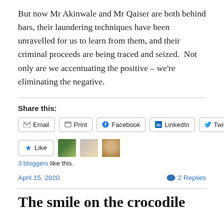But now Mr Akinwale and Mr Qaiser are both behind bars, their laundering techniques have been unravelled for us to learn from them, and their criminal proceeds are being traced and seized.  Not only are we accentuating the positive – we're eliminating the negative.
Share this:
Email  Print  Facebook  LinkedIn  Twitter
Like  3 bloggers like this.
April 15, 2020   2 Replies
The smile on the crocodile